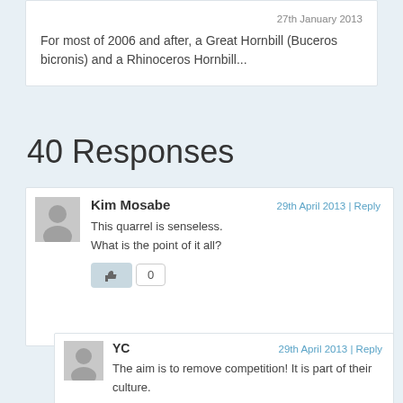27th January 2013
For most of 2006 and after, a Great Hornbill (Buceros bicronis) and a Rhinoceros Hornbill...
40 Responses
Kim Mosabe — 29th April 2013 | Reply
This quarrel is senseless. What is the point of it all?
YC — 29th April 2013 | Reply
The aim is to remove competition! It is part of their culture.